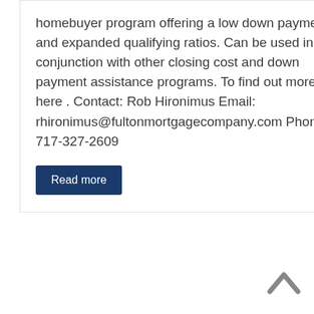homebuyer program offering a low down payment and expanded qualifying ratios. Can be used in conjunction with other closing cost and down payment assistance programs. To find out more, click here . Contact: Rob Hironimus Email: rhironimus@fultonmortgagecompany.com Phone: 717-327-2609
Read more
[Figure (photo): A conference room or law office setting with green chairs around a wooden oval table, and bookshelves filled with law books in the background.]